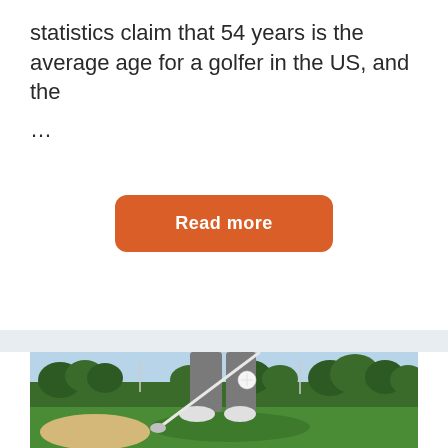statistics claim that 54 years is the average age for a golfer in the US, and the ...
Read more
[Figure (photo): A golfer from the waist down wearing gray pants and white shoes, mid-swing on a golf course with green grass, sand bunker, trees, and blue sky in the background. A white golf ball is visible in motion near the golfer's knee.]